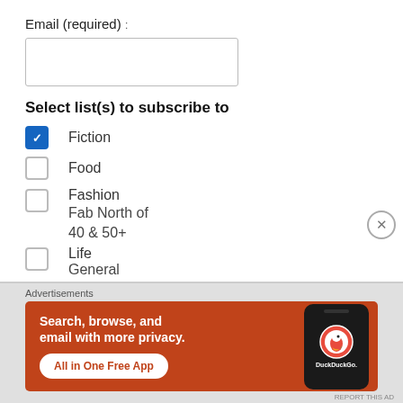Email (required) :
Select list(s) to subscribe to
Fiction (checked)
Food
Fashion
Fab North of
40 & 50+
Life
General
Interest
Advertisements
[Figure (infographic): DuckDuckGo advertisement: Search, browse, and email with more privacy. All in One Free App. Orange background with DuckDuckGo duck logo on a phone.]